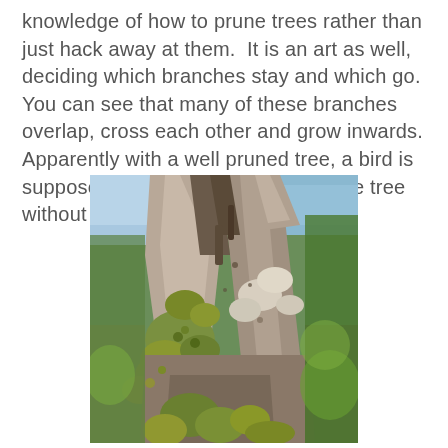knowledge of how to prune trees rather than just hack away at them.  It is an art as well, deciding which branches stay and which go. You can see that many of these branches overlap, cross each other and grow inwards.  Apparently with a well pruned tree, a bird is supposed to be able to fly through the tree without hitting a branch!
[Figure (photo): Close-up photograph of a tree trunk and branches covered in moss and lichen, with green foliage visible in the blurred background and a blue sky glimpsed at the top.]